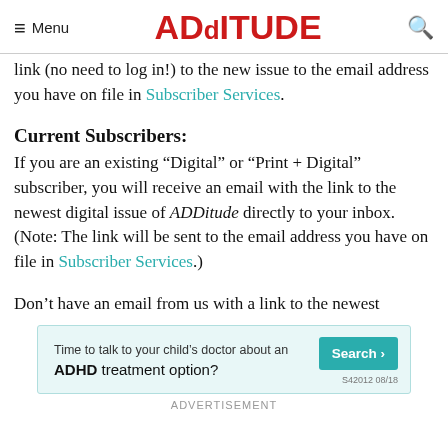Menu | ADDITURE | [search]
link (no need to log in!) to the new issue to the email address you have on file in Subscriber Services.
Current Subscribers:
If you are an existing “Digital” or “Print + Digital” subscriber, you will receive an email with the link to the newest digital issue of ADDitude directly to your inbox. (Note: The link will be sent to the email address you have on file in Subscriber Services.)
Don’t have an email from us with a link to the newest
[Figure (other): Advertisement banner: Time to talk to your child's doctor about an ADHD treatment option? Search button. S42012 08/18]
ADVERTISEMENT